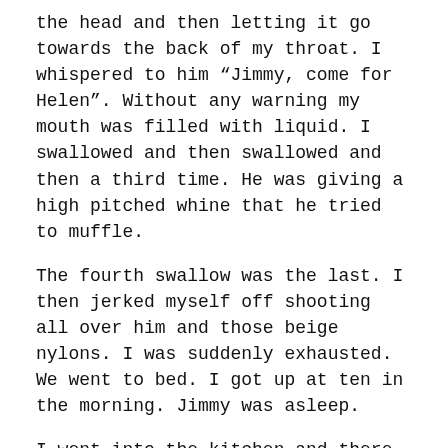the head and then letting it go towards the back of my throat. I whispered to him “Jimmy, come for Helen”. Without any warning my mouth was filled with liquid. I swallowed and then swallowed and then a third time. He was giving a high pitched whine that he tried to muffle.
The fourth swallow was the last. I then jerked myself off shooting all over him and those beige nylons. I was suddenly exhausted. We went to bed. I got up at ten in the morning. Jimmy was asleep.
I went into the kitchen and there was a note from my aunt and uncle that they went out to do some shopping and would be back for lunch. There was a pot of coffee and I sat and thought about the night before.
About fifteen minutes later Jimmy appeared in the kitchen and I showed him the note from his parents. He was wearing a bathrobe. I could see that he had